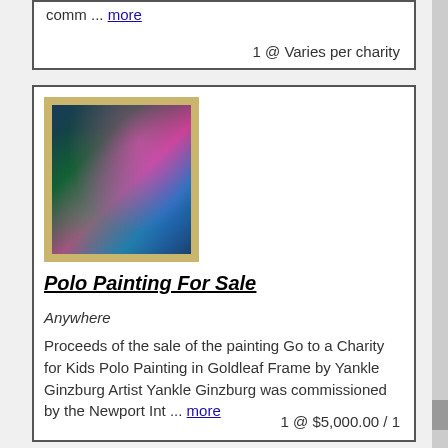comm ... more
1 @ Varies per charity
[Figure (photo): Framed polo painting in goldleaf frame by Yankle Ginzburg, showing polo players on horseback with colorful abstract background in pink, green, and blue tones]
Polo Painting For Sale
Anywhere
Proceeds of the sale of the painting Go to a Charity for Kids Polo Painting in Goldleaf Frame by Yankle Ginzburg Artist Yankle Ginzburg was commissioned by the Newport Int ... more
1 @ $5,000.00 / 1